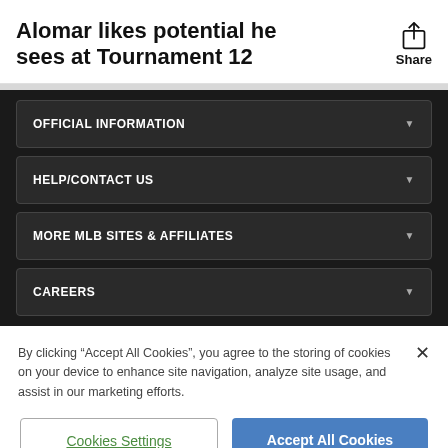Alomar likes potential he sees at Tournament 12
OFFICIAL INFORMATION
HELP/CONTACT US
MORE MLB SITES & AFFILIATES
CAREERS
By clicking “Accept All Cookies”, you agree to the storing of cookies on your device to enhance site navigation, analyze site usage, and assist in our marketing efforts.
Cookies Settings
Accept All Cookies